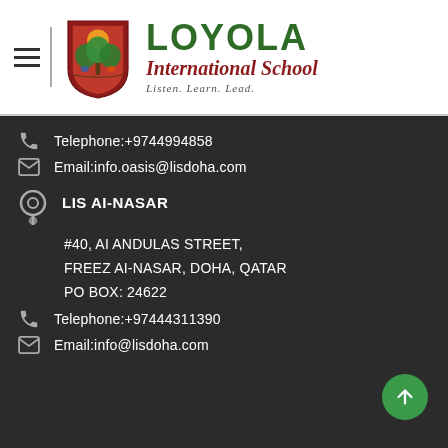[Figure (logo): Loyola International School logo with shield emblem and text. Shield is red with a tree and sun. Text reads LOYOLA International School, Listen. Learn. Lead.]
Telephone:+9744994858
Email:info.oasis@lisdoha.com
LIS AI-NASAR
#40, AI ANDULAS STREET,
FREEZ AI-NASAR, DOHA, QATAR
PO BOX: 24622
Telephone:+97444311390
Email:info@lisdoha.com